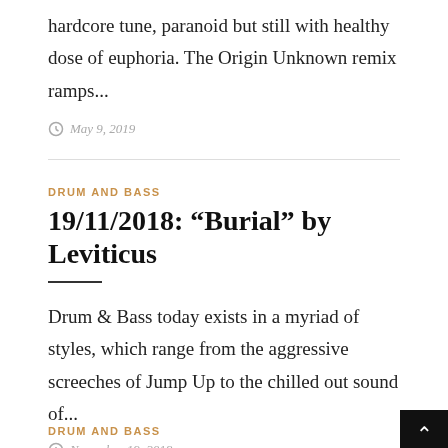hardcore tune, paranoid but still with healthy dose of euphoria. The Origin Unknown remix ramps...
May 9, 2019
DRUM AND BASS
19/11/2018: “Burial” by Leviticus
Drum & Bass today exists in a myriad of styles, which range from the aggressive screeches of Jump Up to the chilled out sound of...
November 19, 2018
DRUM AND BASS